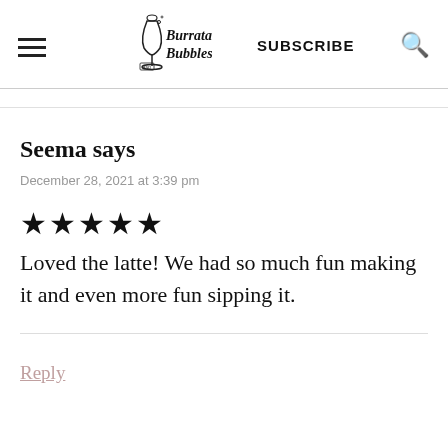Burrata and Bubbles — SUBSCRIBE
Seema says
December 28, 2021 at 3:39 pm
★★★★★
Loved the latte! We had so much fun making it and even more fun sipping it.
Reply